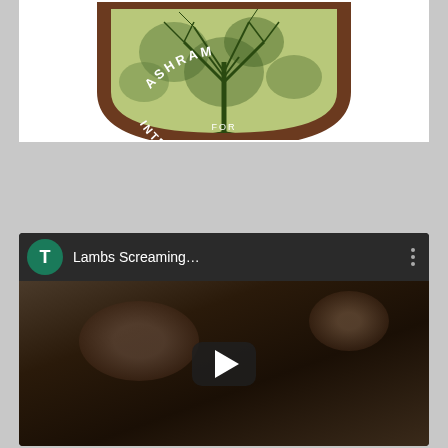[Figure (logo): Circular/shield-shaped logo for 'Ashram for Introspection' featuring a stylized tree with branching roots on a green mottled background, with brown border containing the text 'ASHRAM FOR INTROSPECTION' in white letters.]
[Figure (screenshot): YouTube-style video thumbnail showing a close-up of a man's face in dark cinematic lighting. The video title reads 'Lambs Screaming...' with a teal/green circle avatar showing the letter T and a three-dot menu icon. A play button (dark rounded rectangle with white triangle) is overlaid on the thumbnail.]